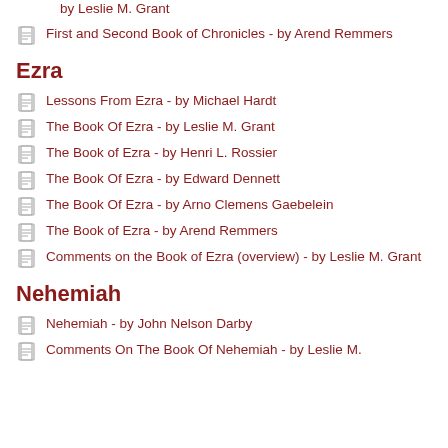by Leslie M. Grant
First and Second Book of Chronicles - by Arend Remmers
Ezra
Lessons From Ezra - by Michael Hardt
The Book Of Ezra - by Leslie M. Grant
The Book of Ezra - by Henri L. Rossier
The Book Of Ezra - by Edward Dennett
The Book Of Ezra - by Arno Clemens Gaebelein
The Book of Ezra - by Arend Remmers
Comments on the Book of Ezra (overview) - by Leslie M. Grant
Nehemiah
Nehemiah - by John Nelson Darby
Comments On The Book Of Nehemiah - by Leslie M.